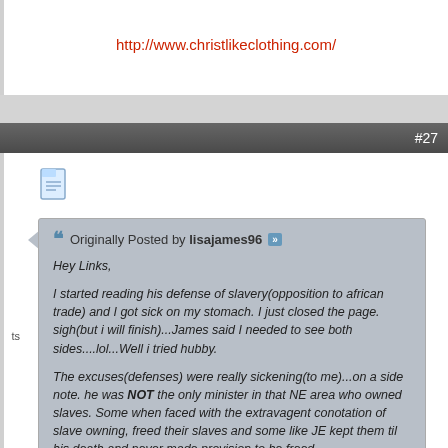http://www.christlikeclothing.com/
#27
Originally Posted by lisajames96
Hey Links,

I started reading his defense of slavery(opposition to african trade) and I got sick on my stomach. I just closed the page. sigh(but i will finish)...James said I needed to see both sides....lol...Well i tried hubby.

The excuses(defenses) were really sickening(to me)...on a side note. he was NOT the only minister in that NE area who owned slaves. Some when faced with the extravagent conotation of slave owning, freed their slaves and some like JE kept them til his death and never made provision to be freed.

In reading I found it interesting too that his first slave he bought(for his wife, i hope) with almost have a year's salary!...what???...That is like me today paying $20K( or more depending on the economy).